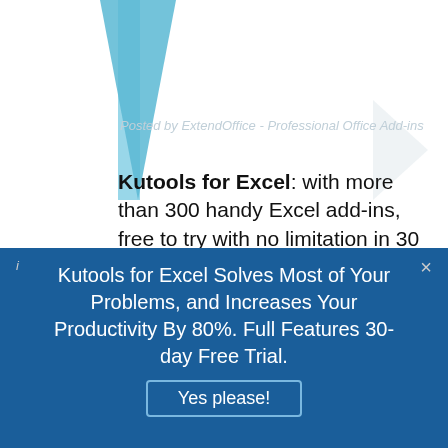Posted by ExtendOffice - Professional Office Add-ins
Kutools for Excel: with more than 300 handy Excel add-ins, free to try with no limitation in 30 days. Download and free trial Now!
Kutools for Excel Solves Most of Your Problems, and Increases Your Productivity By 80%. Full Features 30-day Free Trial.
Yes please!